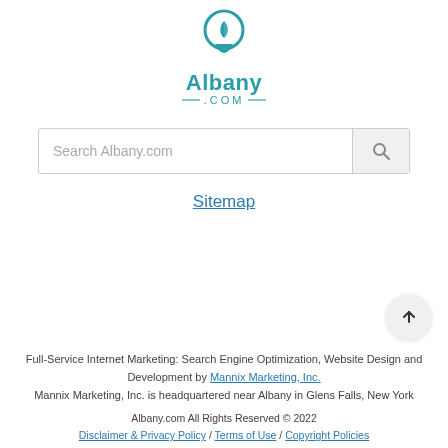[Figure (logo): Albany.com logo with teal map pin icon above text 'Albany' and '— .COM —']
Search Albany.com
Sitemap
Full-Service Internet Marketing: Search Engine Optimization, Website Design and Development by Mannix Marketing, Inc. Mannix Marketing, Inc. is headquartered near Albany in Glens Falls, New York
Albany.com All Rights Reserved © 2022
Disclaimer & Privacy Policy / Terms of Use / Copyright Policies